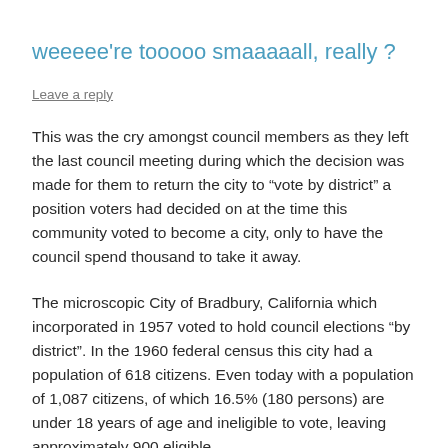weeeee're tooooo smaaaaall, really ?
Leave a reply
This was the cry amongst council members as they left the last council meeting during which the decision was made for them to return the city to “vote by district” a position voters had decided on at the time this community voted to become a city, only to have the council spend thousand to take it away.
The microscopic City of Bradbury, California which incorporated in 1957 voted to hold council elections “by district”. In the 1960 federal census this city had a population of 618 citizens. Even today with a population of 1,087 citizens, of which 16.5% (180 persons) are under 18 years of age and ineligible to vote, leaving approximately 900 eligible